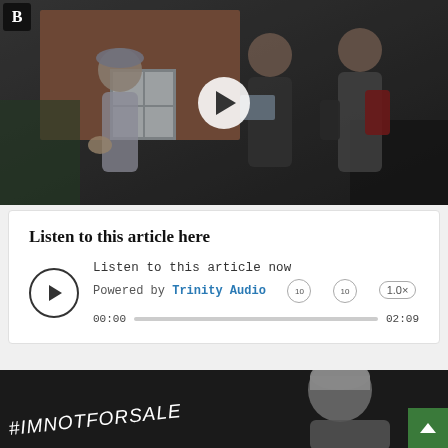[Figure (photo): Video thumbnail showing a child in a grey cap gesturing and speaking to two adults outside a brick building. A play button is visible in the center. A 'B' logo is in the top-left corner.]
Listen to this article here
[Figure (other): Audio player widget. Title: 'Listen to this article now'. Powered by Trinity Audio. Controls show 00:00 start time and 02:09 total duration. Speed set to 1.0x.]
[Figure (photo): Dark background image with white handwritten-style text '#IMNOTFORSALE' and a person wearing a grey knit beanie hat. Green scroll-to-top button in bottom-right corner.]